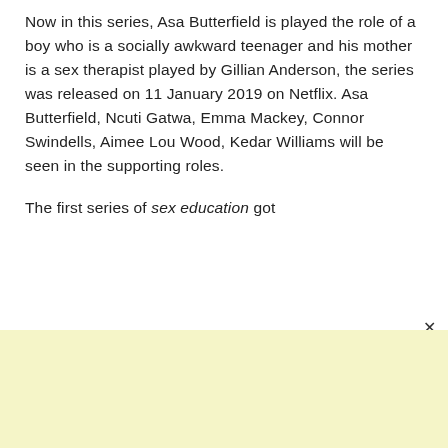Now in this series, Asa Butterfield is played the role of a boy who is a socially awkward teenager and his mother is a sex therapist played by Gillian Anderson, the series was released on 11 January 2019 on Netflix. Asa Butterfield, Ncuti Gatwa, Emma Mackey, Connor Swindells, Aimee Lou Wood, Kedar Williams will be seen in the supporting roles.
The first series of sex education got